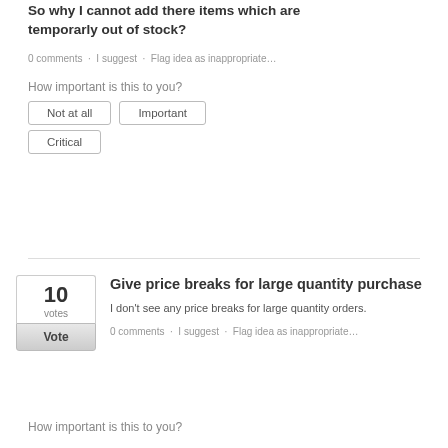So why I cannot add there items which are temporarly out of stock?
0 comments · I suggest · Flag idea as inappropriate…
How important is this to you?
Not at all
Important
Critical
10 votes
Vote
Give price breaks for large quantity purchase
I don't see any price breaks for large quantity orders.
0 comments · I suggest · Flag idea as inappropriate…
How important is this to you?